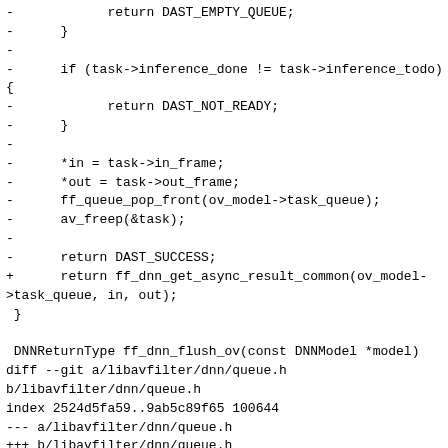Diff/patch code showing removal of old async result logic and addition of ff_dnn_get_async_result_common, followed by a git diff header for libavfilter/dnn/queue.h